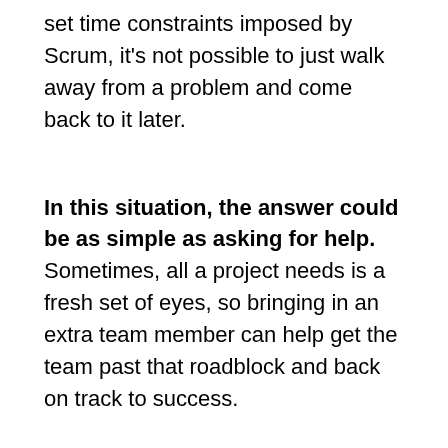set time constraints imposed by Scrum, it's not possible to just walk away from a problem and come back to it later.
In this situation, the answer could be as simple as asking for help. Sometimes, all a project needs is a fresh set of eyes, so bringing in an extra team member can help get the team past that roadblock and back on track to success.
Frequently missed deadlines.
When a team works with Scrum, they must respect the given timeframes. A couple of